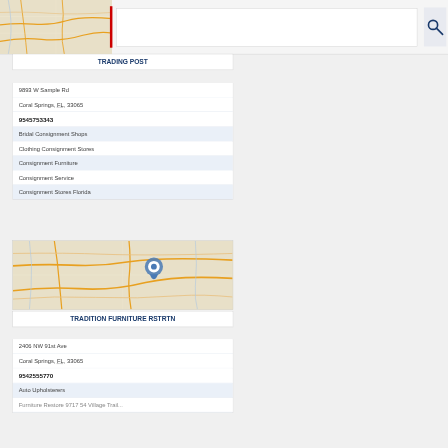[Figure (screenshot): Map thumbnail showing road network in light tan/cream color with orange roads]
[Figure (screenshot): Search bar with red cursor and search icon on right]
TRADING POST
9893 W Sample Rd
Coral Springs, FL, 33065
9545753343
Bridal Consignment Shops
Clothing Consignment Stores
Consignment Furniture
Consignment Service
Consignment Stores Florida
[Figure (map): Map showing location with blue pin marker, road network in orange on cream background]
TRADITION FURNITURE RSTRTN
2406 NW 91st Ave
Coral Springs, FL, 33065
9542555770
Auto Upholsterers